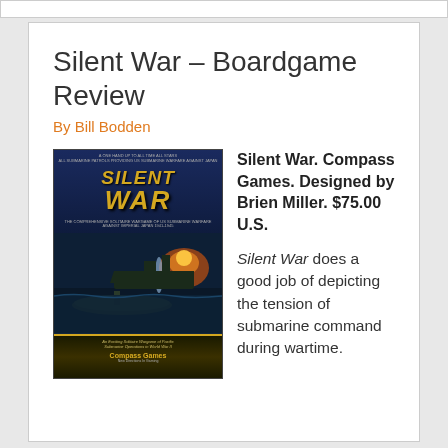Silent War – Boardgame Review
By Bill Bodden
[Figure (photo): Book cover of Silent War board game by Compass Games, showing a submarine warfare scene with ships and underwater vessels on a dark ocean background]
Silent War. Compass Games. Designed by Brien Miller. $75.00 U.S.
Silent War does a good job of depicting the tension of submarine command during wartime.